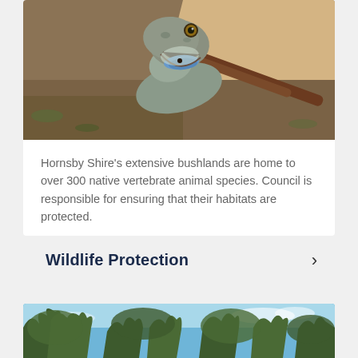[Figure (photo): Close-up photograph of a blue-tongue lizard with mouth open, showing blue tongue, surrounded by dirt and sticks]
Hornsby Shire's extensive bushlands are home to over 300 native vertebrate animal species. Council is responsible for ensuring that their habitats are protected.
Wildlife Protection
[Figure (photo): Photograph of Australian bushland with eucalyptus trees against a blue sky]